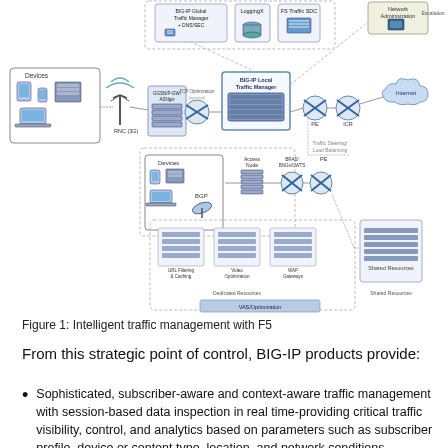[Figure (network-graph): Network diagram showing intelligent traffic management with F5. Components include Devices, RNC, GGSN/P-GW/SGW, TCP Optimization, BIG-IP Local Traffic Manager, PE, ICR, Internet, Network Administration, BIG-IP Global Traffic Manager + DNS, LoggingX, FS Traffic SDC, Access Node, BRAS/BNGs/CWTS, PE, URL Filtering & Caching, Video Optimization, WAP Gateways, Shared Resources, Dedicated Resources, VAS/Optimization sections.]
Figure 1: Intelligent traffic management with F5
From this strategic point of control, BIG-IP products provide:
Sophisticated, subscriber-aware and context-aware traffic management with session-based data inspection in real time-providing critical traffic visibility, control, and analytics based on parameters such as subscriber profile, device or content type, location, and network conditions